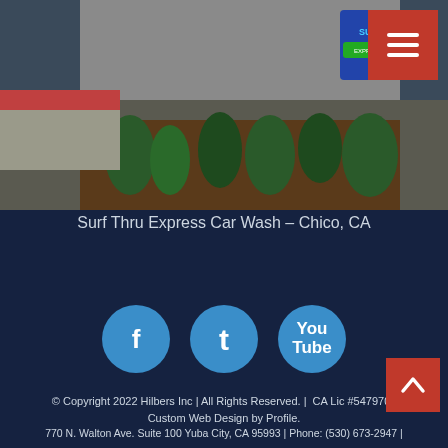[Figure (photo): Photo of Surf Thru Express Car Wash location in Chico, CA showing exterior sign and landscaping with ornamental grasses and mulch]
Surf Thru Express Car Wash – Chico, CA
[Figure (illustration): Social media icons: Facebook (f), Twitter (t), YouTube buttons in blue circles]
© Copyright 2022 Hilbers Inc | All Rights Reserved. |  CA Lic #547970 | Custom Web Design by Profile. 770 N. Walton Ave. Suite 100 Yuba City, CA 95993 | Phone: (530) 673-2947 |